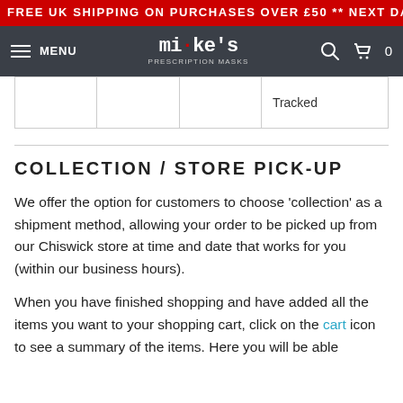FREE UK SHIPPING ON PURCHASES OVER £50 ** NEXT DAY DELIVERY
Mike's Prescription Masks - MENU navigation bar with search and cart (0)
|  |  |  | Tracked |
COLLECTION / STORE PICK-UP
We offer the option for customers to choose 'collection' as a shipment method, allowing your order to be picked up from our Chiswick store at time and date that works for you (within our business hours).
When you have finished shopping and have added all the items you want to your shopping cart, click on the cart icon to see a summary of the items. Here you will be able